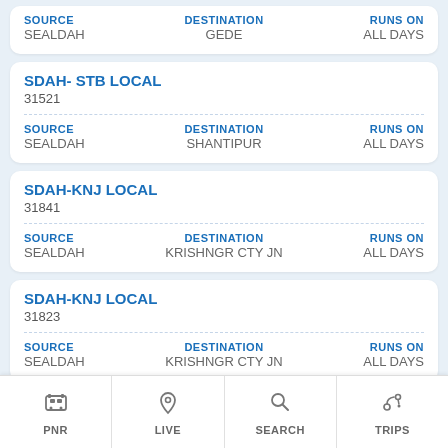SOURCE: SEALDAH | DESTINATION: GEDE | RUNS ON: ALL DAYS
SDAH- STB LOCAL
31521
SOURCE: SEALDAH | DESTINATION: SHANTIPUR | RUNS ON: ALL DAYS
SDAH-KNJ LOCAL
31841
SOURCE: SEALDAH | DESTINATION: KRISHNGR CTY JN | RUNS ON: ALL DAYS
SDAH-KNJ LOCAL
31823
SOURCE: SEALDAH | DESTINATION: KRISHNGR CTY JN | RUNS ON: ALL DAYS
SDAH-TB LOCAL
31152 (partial)
PNR | LIVE | SEARCH | TRIPS